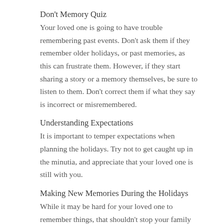Don't Memory Quiz
Your loved one is going to have trouble remembering past events. Don't ask them if they remember older holidays, or past memories, as this can frustrate them. However, if they start sharing a story or a memory themselves, be sure to listen to them. Don't correct them if what they say is incorrect or misremembered.
Understanding Expectations
It is important to temper expectations when planning the holidays. Try not to get caught up in the minutia, and appreciate that your loved one is still with you.
Making New Memories During the Holidays
While it may be hard for your loved one to remember things, that shouldn't stop your family from making memories. Be sure to take pictures